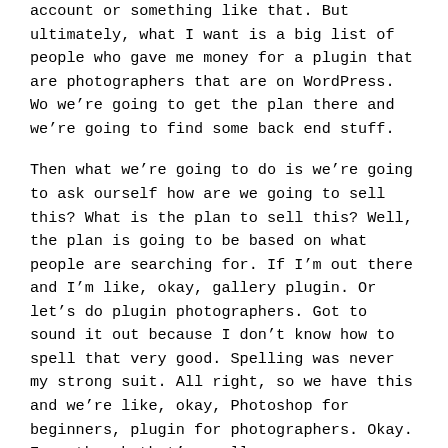account or something like that. But ultimately, what I want is a big list of people who gave me money for a plugin that are photographers that are on WordPress. Wo we're going to get the plan there and we're going to find some back end stuff.
Then what we're going to do is we're going to ask ourself how are we going to sell this? What is the plan to sell this? Well, the plan is going to be based on what people are searching for. If I'm out there and I'm like, okay, gallery plugin. Or let's do plugin photographers. Got to sound it out because I don't know how to spell that very good. Spelling was never my strong suit. All right, so we have this and we're like, okay, Photoshop for beginners, plugin for photographers. Okay. Even though that's small